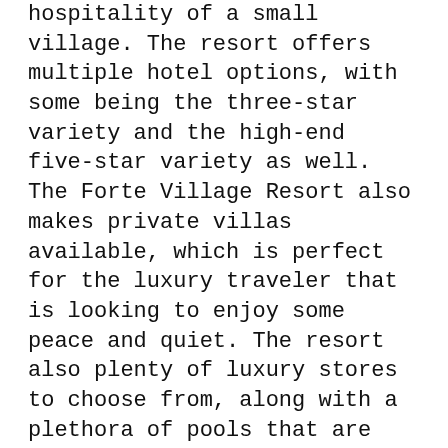hospitality of a small village. The resort offers multiple hotel options, with some being the three-star variety and the high-end five-star variety as well. The Forte Village Resort also makes private villas available, which is perfect for the luxury traveler that is looking to enjoy some peace and quiet. The resort also plenty of luxury stores to choose from, along with a plethora of pools that are available for guests to enjoy. The resort also has beautiful beachfront access, complete with umbrellas lounge chairs for relaxation.
Four Seasons Bora Bora- When it comes to luxury travel brands, few are more well-known than the Four Seasons lineup of resorts and hotels. The Four Seasons Bora Bora lives up to this brand's high standards